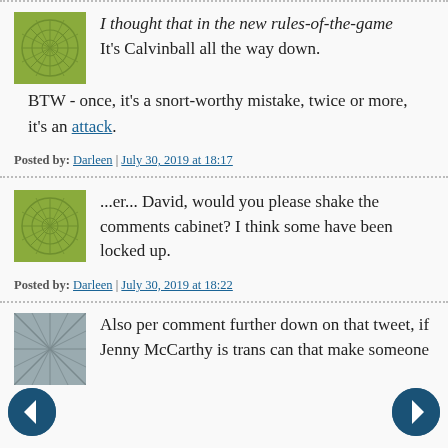I thought that in the new rules-of-the-game
It's Calvinball all the way down.
BTW - once, it's a snort-worthy mistake, twice or more, it's an attack.
Posted by: Darleen | July 30, 2019 at 18:17
...er... David, would you please shake the comments cabinet? I think some have been locked up.
Posted by: Darleen | July 30, 2019 at 18:22
Also per comment further down on that tweet, if Jenny McCarthy is trans can that make someone